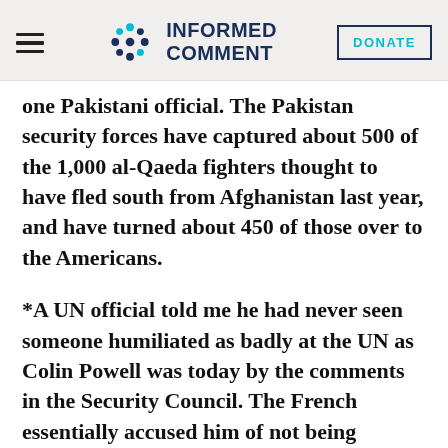Informed Comment | DONATE
one Pakistani official. The Pakistan security forces have captured about 500 of the 1,000 al-Qaeda fighters thought to have fled south from Afghanistan last year, and have turned about 450 of those over to the Americans.
*A UN official told me he had never seen someone humiliated as badly at the UN as Colin Powell was today by the comments in the Security Council. The French essentially accused him of not being truthful in his attempts to tie